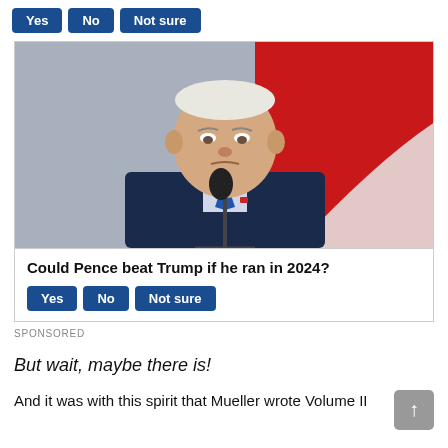[Figure (other): Three blue poll buttons: Yes, No, Not sure at the top of the page]
[Figure (photo): Photo of Mike Pence in a dark navy suit with blue striped tie, standing at a microphone with a red background]
Could Pence beat Trump if he ran in 2024?
[Figure (other): Three blue poll buttons: Yes, No, Not sure below the poll question]
SPONSORED
But wait, maybe there is!
And it was with this spirit that Mueller wrote Volume II